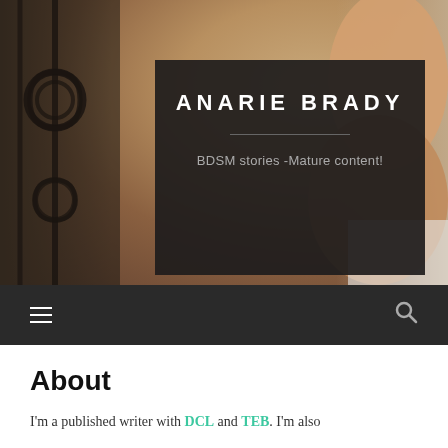[Figure (photo): Website header image showing a person in a reclining pose with ornamental ironwork visible on the left, blurred background in warm brown tones]
ANARIE BRADY
BDSM stories -Mature content!
[Figure (other): Dark navigation bar with hamburger menu icon on left and search icon on right]
About
I'm a published writer with DCL and TEB. I'm also